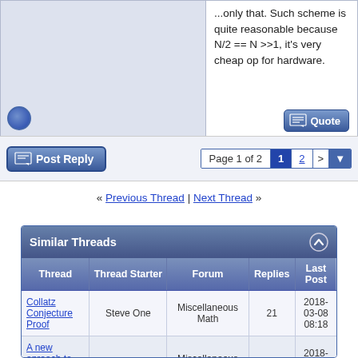...only that. Such scheme is quite reasonable because N/2 == N >>1, it's very cheap op for hardware.
Post Reply | Page 1 of 2  1  2  >
« Previous Thread | Next Thread »
| Thread | Thread Starter | Forum | Replies | Last Post |
| --- | --- | --- | --- | --- |
| Collatz Conjecture Proof | Steve One | Miscellaneous Math | 21 | 2018-03-08 08:18 |
| A new aproach to C.Collatz. 3n+1... | JM Montolio A | Miscellaneous Math | 10 | 2018-02-28 20:06 |
| Collatz conjecture | MattcAnderson | MattcAnderson | 4 | 2017-03-12 07:39 |
| Related to Collatz conjecture | nibble4bits | Math | 1 | 2007-08-04 07:09 |
| Deutscher Thread ... | TauCeti | NESNET Discussion | 0 | 2003-12-11 |